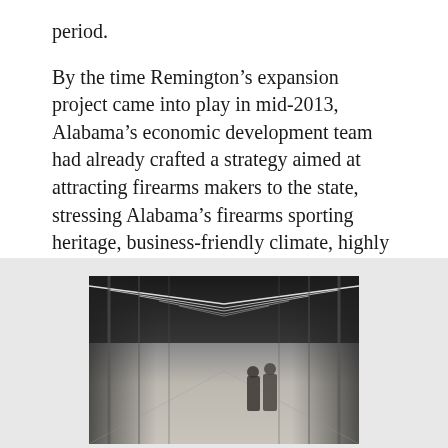period.
By the time Remington's expansion project came into play in mid-2013, Alabama's economic development team had already crafted a strategy aimed at attracting firearms makers to the state, stressing Alabama's firearms sporting heritage, business-friendly climate, highly regarded workforce training programs and its manufacturing history.
[Figure (photo): Interior of a large warehouse or factory floor with high ceilings, rows of fluorescent lighting strips along the ceiling, a wide concrete floor, and two people walking away from the camera in the right-center of the image.]